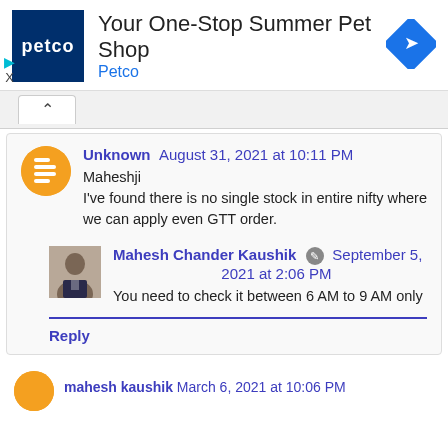[Figure (screenshot): Petco advertisement banner: logo with dark blue background and white 'petco' text, headline 'Your One-Stop Summer Pet Shop', brand name 'Petco' in blue, blue diamond navigation arrow icon on right. Small play and X controls at bottom-left.]
Unknown  August 31, 2021 at 10:11 PM
Maheshji
I've found there is no single stock in entire nifty where we can apply even GTT order.
Mahesh Chander Kaushik  September 5, 2021 at 2:06 PM
You need to check it between 6 AM to 9 AM only
Reply
mahesh kaushik  March 6, 2021 at 10:06 PM